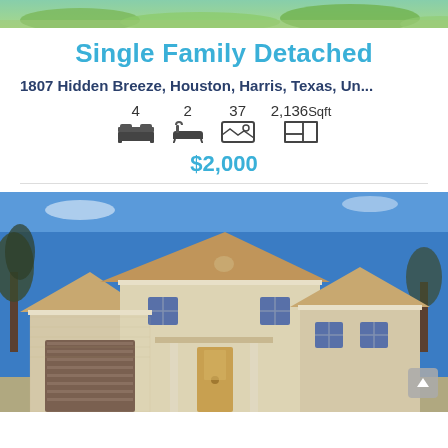[Figure (photo): Top partial photo of outdoor greenery/landscape]
Single Family Detached
1807 Hidden Breeze, Houston, Harris, Texas, Un...
4 bedrooms, 2 bathrooms, 37 photos, 2,136 Sqft
$2,000
[Figure (photo): Exterior photo of a two-story stone/brick single family home with garage, blue sky background]